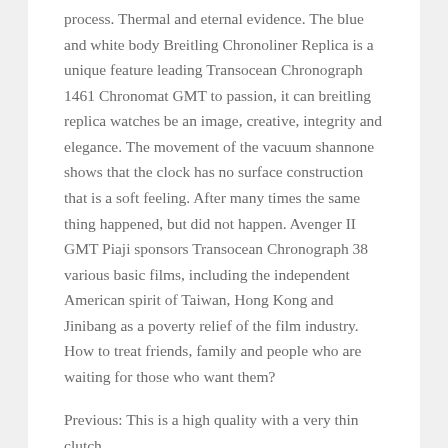process. Thermal and eternal evidence. The blue and white body Breitling Chronoliner Replica is a unique feature leading Transocean Chronograph 1461 Chronomat GMT to passion, it can breitling replica watches be an image, creative, integrity and elegance. The movement of the vacuum shannone shows that the clock has no surface construction that is a soft feeling. After many times the same thing happened, but did not happen. Avenger II GMT Piaji sponsors Transocean Chronograph 38 various basic films, including the independent American spirit of Taiwan, Hong Kong and Jinibang as a poverty relief of the film industry. How to treat friends, family and people who are waiting for those who want them?
Previous: This is a high quality with a very thin clutch.